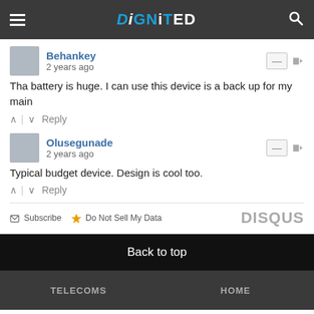DiGNiTED
Behankey
2 years ago
Tha battery is huge. I can use this device is a back up for my main
Olusegunade
2 years ago
Typical budget device. Design is cool too.
Subscribe  Do Not Sell My Data  DISQUS
Back to top
TELECOMS   HOME